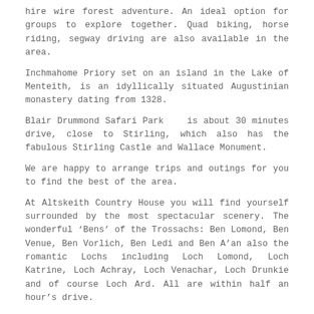hire wire forest adventure. An ideal option for groups to explore together. Quad biking, horse riding, segway driving are also available in the area.
Inchmahome Priory set on an island in the Lake of Menteith, is an idyllically situated Augustinian monastery dating from 1328.
Blair Drummond Safari Park   is about 30 minutes drive, close to Stirling, which also has the fabulous Stirling Castle and Wallace Monument.
We are happy to arrange trips and outings for you to find the best of the area.
At Altskeith Country House you will find yourself surrounded by the most spectacular scenery. The wonderful ‘Bens’ of the Trossachs: Ben Lomond, Ben Venue, Ben Vorlich, Ben Ledi and Ben A’an also the romantic Lochs including Loch Lomond, Loch Katrine, Loch Achray, Loch Venachar, Loch Drunkie and of course Loch Ard. All are within half an hour’s drive.
From our beach you can row, canoe, sail and windsurf on the Loch or even swim. Loch Ard is stunning, with small islands and a crannog to explore.
We can offer trout fishing on Loch Ard and can arrange for a ghillie to show you many other beautiful lochs in the area. Within walking